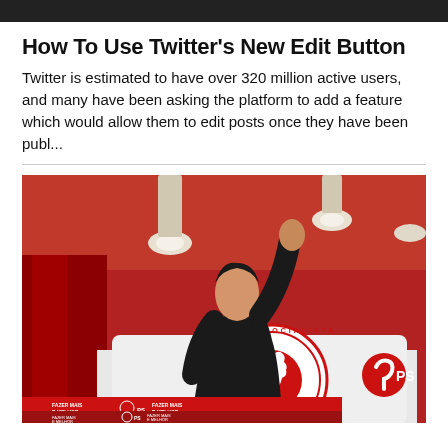How To Use Twitter's New Edit Button
Twitter is estimated to have over 320 million active users, and many have been asking the platform to add a feature which would allow them to edit posts once they have been publ...
[Figure (photo): A woman at a podium with the Partido Socialista (PS) logo, raising her fist, against a red background with ceiling spotlights. PS branding visible on banners at bottom.]